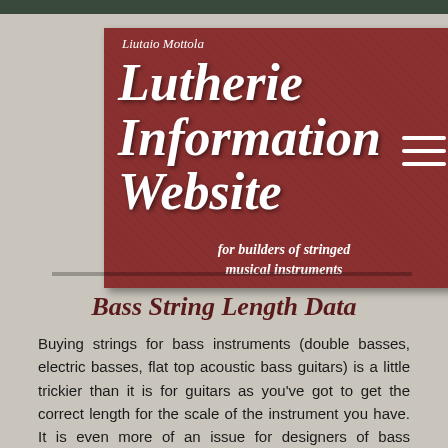Liutaio Mottola — Lutherie Information Website — for builders of stringed musical instruments
Bass String Length Data
Buying strings for bass instruments (double basses, electric basses, flat top acoustic bass guitars) is a little trickier than it is for guitars as you've got to get the correct length for the scale of the instrument you have. It is even more of an issue for designers of bass instruments, particularly for archtop bass guitars and electric upright basses (EUB). The